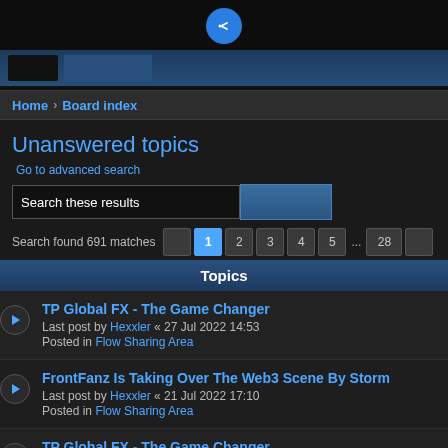Home › Board index
Unanswered topics
Go to advanced search
Search these results
Search found 691 matches   1 2 3 4 5 ... 28
Topics
TP Global FX - The Game Changer
Last post by Hexxler « 27 Jul 2022 14:53
Posted in Flow Sharing Area
FrontFanz Is Taking Over The Web3 Scene By Storm
Last post by Hexxler « 21 Jul 2022 17:10
Posted in Flow Sharing Area
TP Global FX - The Game Changer